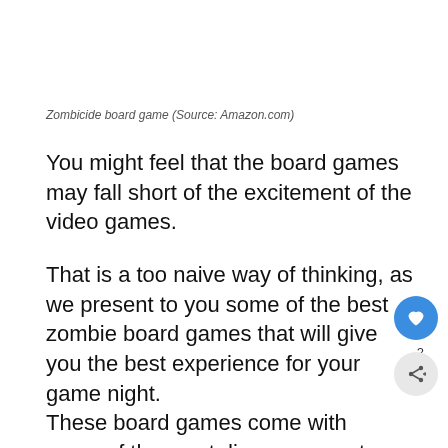Zombicide board game (Source: Amazon.com)
You might feel that the board games may fall short of the excitement of the video games.
That is a too naive way of thinking, as we present to you some of the best zombie board games that will give you the best experience for your game night.
These board games come with some of the most diverse, non-stop combat, survivalist theme for your enjoyment. There is something for everything.